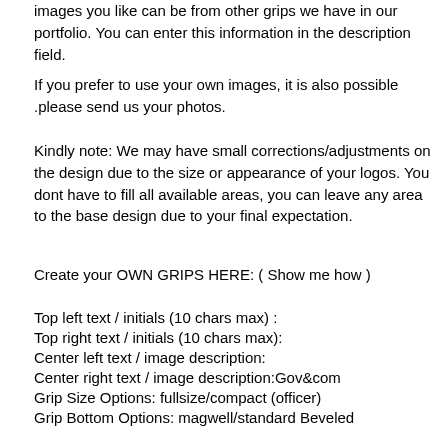images you like can be from other grips we have in our portfolio. You can enter this information in the description field.
If you prefer to use your own images, it is also possible .please send us your photos.
Kindly note: We may have small corrections/adjustments on the design due to the size or appearance of your logos. You dont have to fill all available areas, you can leave any area to the base design due to your final expectation.
Create your OWN GRIPS HERE: ( Show me how )
Top left text / initials (10 chars max) :
Top right text / initials (10 chars max):
Center left text / image description:
Center right text / image description:Gov&com
Grip Size Options: fullsize/compact (officer)
Grip Bottom Options: magwell/standard Beveled